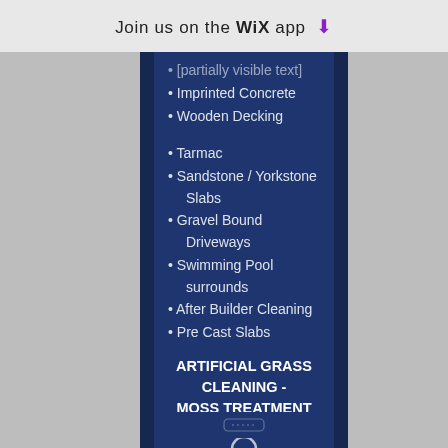Join us on the WiX app ↓
Imprinted Concrete
Wooden Decking
Tarmac
Sandstone / Yorkstone Slabs
Gravel Bound Driveways
Swimming Pool surrounds
After Builder Cleaning
Pre Cast Slabs
ARTIFICIAL GRASS CLEANING - MOSS TREATMENT